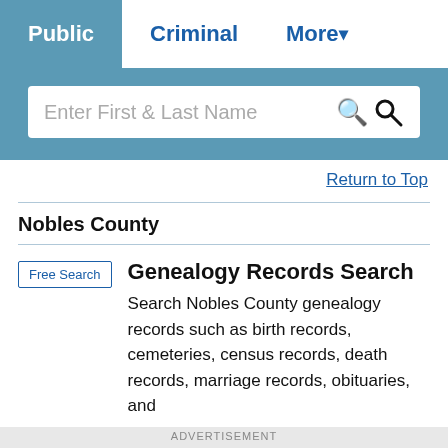Public  Criminal  More
[Figure (screenshot): Search bar with placeholder text 'Enter First & Last Name' and search icon]
Return to Top
Nobles County
Free Search
Genealogy Records Search
Search Nobles County genealogy records such as birth records, cemeteries, census records, death records, marriage records, obituaries, and
ADVERTISEMENT
[Figure (screenshot): BitLife - Life Simulator advertisement banner with Install button]